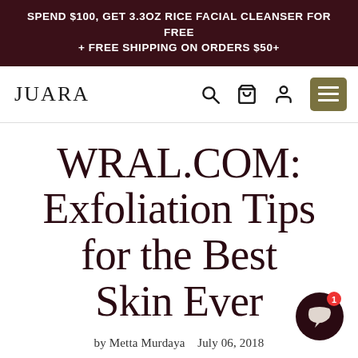SPEND $100, GET 3.3OZ RICE FACIAL CLEANSER FOR FREE + FREE SHIPPING ON ORDERS $50+
[Figure (logo): JUARA brand logo with navigation icons (search, cart, account, menu)]
WRAL.COM: Exfoliation Tips for the Best Skin Ever
by Metta Murdaya   July 06, 2018